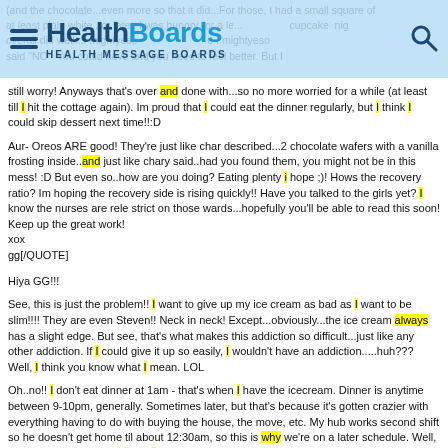HealthBoards - Health Message Boards
(and the chocolate...even more so that it did...For those, I had a small square of at least plain white...or later. I was hungry (or a less cupcake overall did well...I mightyeso said "NO - You could have and you need to feel better. But I still worry! Anyways that's over and done with...so no more worried for a while (at least till I hit the cottage again). Im proud that I could eat the dinner regularly, but I think I could skip dessert next time!!:D
Aur- Oreos ARE good! They're just like char described...2 chocolate wafers with a vanilla frosting inside..and just like chary said..had you found them, you might not be in this mess! :D But even so..how are you doing? Eating plenty i hope ;)! Hows the recovery ratio? Im hoping the recovery side is rising quickly!! Have you talked to the girls yet? I know the nurses are rele strict on those wards...hopefully you'll be able to read this soon! Keep up the great work!
xox
gg[/QUOTE]
Hiya GG!!!
See, this is just the problem!! I want to give up my ice cream as bad as I want to be slim!!!! They are even Steven!! Neck in neck! Except...obviously...the ice cream always has a slight edge. But see, that's what makes this addiction so difficult...just like any other addiction. If I could give it up so easily, I wouldn't have an addiction.....huh??? Well, I think you know what I mean. LOL
Oh..no!! I don't eat dinner at 1am - that's when I have the icecream. Dinner is anytime between 9-10pm, generally. Sometimes later, but that's because it's gotten crazier with everything having to do with buying the house, the move, etc. My hub works second shift so he doesn't get home til about 12:30am, so this is why we're on a later schedule. Well, it may SEEM that when I say I'm hopeless it's an excuse, but it really isn't, to me, anyway. Because I really believe it's true...whether it is or isn't...if that makes sense?